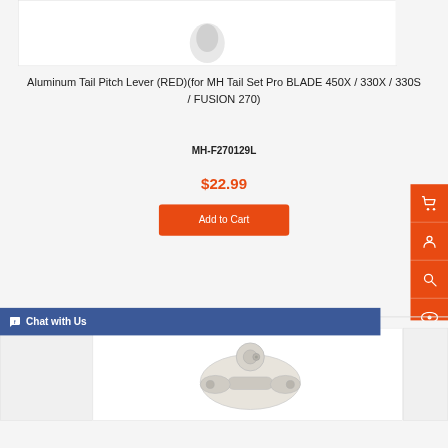[Figure (photo): Partial product image at top, cropped]
Aluminum Tail Pitch Lever (RED)(for MH Tail Set Pro BLADE 450X / 330X / 330S / FUSION 270)
MH-F270129L
$22.99
Add to Cart
[Figure (photo): Bottom product image showing a white aluminum tail pitch lever mechanical part]